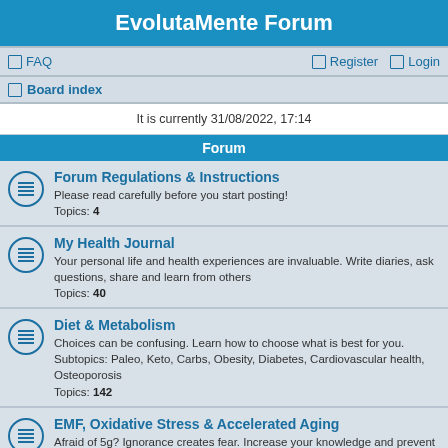EvolutaMente Forum
FAQ | Register | Login
Board index
It is currently 31/08/2022, 17:14
Forum
Forum Regulations & Instructions
Please read carefully before you start posting!
Topics: 4
My Health Journal
Your personal life and health experiences are invaluable. Write diaries, ask questions, share and learn from others
Topics: 40
Diet & Metabolism
Choices can be confusing. Learn how to choose what is best for you. Subtopics: Paleo, Keto, Carbs, Obesity, Diabetes, Cardiovascular health, Osteoporosis
Topics: 142
EMF, Oxidative Stress & Accelerated Aging
Afraid of 5g? Ignorance creates fear. Increase your knowledge and prevent disease. Subtopics: EHS, Autoimmun & Inflammatory Diseases, Autism, Dysbiosis, Allergies, Epigenetics & Polymorphisms
Topics: 11
REDOX & Quantum Biology